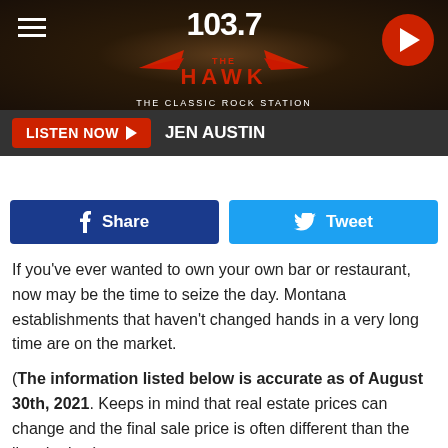[Figure (screenshot): 103.7 The Hawk radio station website header with dark textured background, hamburger menu icon on left, 103.7 THE HAWK THE CLASSIC ROCK STATION logo in center, red circular play button on right]
LISTEN NOW  JEN AUSTIN
[Figure (infographic): Social sharing buttons: blue Facebook Share button and blue Twitter Tweet button]
If you've ever wanted to own your own bar or restaurant, now may be the time to seize the day. Montana establishments that haven't changed hands in a very long time are on the market.
(The information listed below is accurate as of August 30th, 2021. Keeps in mind that real estate prices can change and the final sale price is often different than the listed price.)
Fins Tap House in Corvallis, MT (Ravalli County): $850,000 - You'll find Corvallis south of Missoula, and just north of